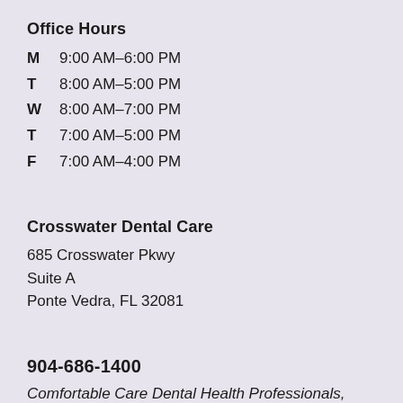Office Hours
M  9:00 AM–6:00 PM
T  8:00 AM–5:00 PM
W  8:00 AM–7:00 PM
T  7:00 AM–5:00 PM
F  7:00 AM–4:00 PM
Crosswater Dental Care
685 Crosswater Pkwy
Suite A
Ponte Vedra, FL 32081
904-686-1400
Comfortable Care Dental Health Professionals, P.A.
DN22071
DN25113